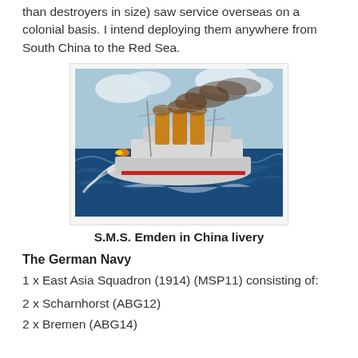than destroyers in size) saw service overseas on a colonial basis. I intend deploying them anywhere from South China to the Red Sea.
[Figure (photo): Painting of S.M.S. Emden warship at sea firing guns, with yellow funnels emitting brown smoke, white hull, rough blue seas, cloudy sky]
S.M.S. Emden in China livery
The German Navy
1 x East Asia Squadron (1914) (MSP11) consisting of:
2 x Scharnhorst (ABG12)
2 x Bremen (ABG14)